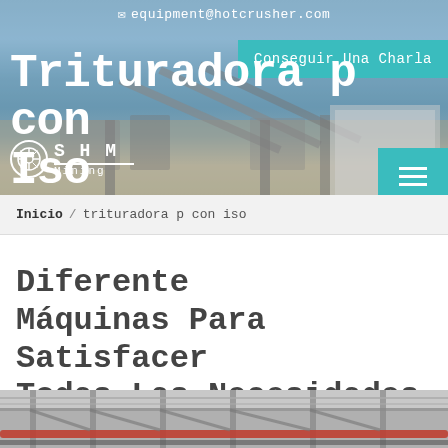equipment@hotcrusher.com
[Figure (screenshot): SHM Mining website header with industrial crusher equipment background, email bar, teal 'Conseguir Una Charla' button, SHM Mining logo, hamburger menu]
Trituradora p con Iso
Inicio / trituradora p con iso
Diferente Máquinas Para Satisfacer Todas Las Necesidades
[Figure (photo): Interior of industrial facility showing metal ceiling structure, pipes and conveyor equipment]